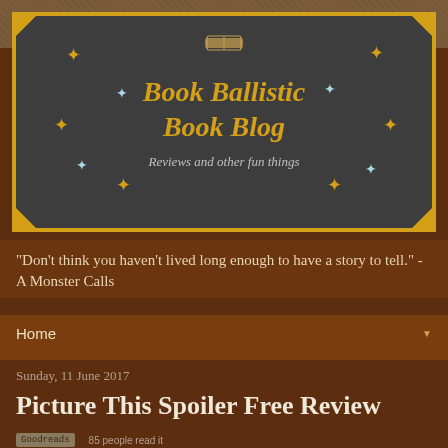[Figure (illustration): Book Ballistic Book Blog banner with dark background, gold border, title in gold serif font, subtitle in gray italic, decorative sparkles and star ornaments]
"Don't think you haven't lived long enough to have a story to tell." - A Monster Calls
Home
Home
Sunday, 11 June 2017
Picture This Spoiler Free Review
85 people read it